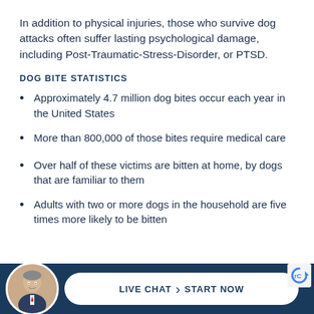In addition to physical injuries, those who survive dog attacks often suffer lasting psychological damage, including Post-Traumatic-Stress-Disorder, or PTSD.
DOG BITE STATISTICS
Approximately 4.7 million dog bites occur each year in the United States
More than 800,000 of those bites require medical care
Over half of these victims are bitten at home, by dogs that are familiar to them
Adults with two or more dogs in the household are five times more likely to be bitten
[Figure (photo): Circular avatar photo of a man in a suit, used as a live chat agent profile picture in the footer bar]